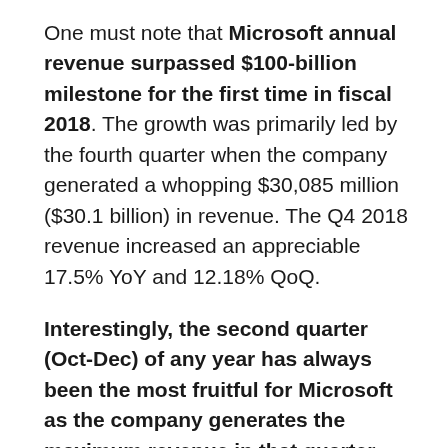One must note that Microsoft annual revenue surpassed $100-billion milestone for the first time in fiscal 2018. The growth was primarily led by the fourth quarter when the company generated a whopping $30,085 million ($30.1 billion) in revenue. The Q4 2018 revenue increased an appreciable 17.5% YoY and 12.18% QoQ.
Interestingly, the second quarter (Oct-Dec) of any year has always been the most fruitful for Microsoft as the company generates the maximum revenue in that quarter.
About Microsoft Corporation